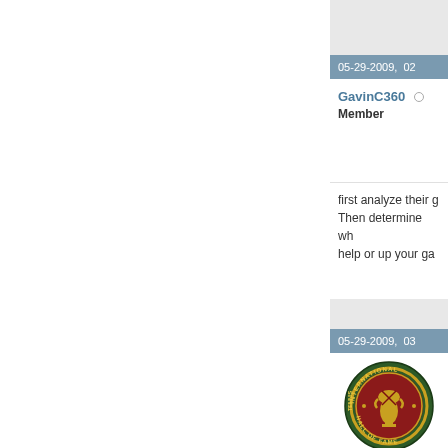05-29-2009,  02
GavinC360
Member
first analyze their g... Then determine wh... help or up your gar...
05-29-2009,  03
[Figure (illustration): International Tennis Hall of Fame badge/patch: circular dark green badge with gold text reading INTERNATIONAL TENNIS HALL OF FAME around the border, center is dark red/maroon with a gold trophy and tennis rackets illustration]
Coach
Senior Member